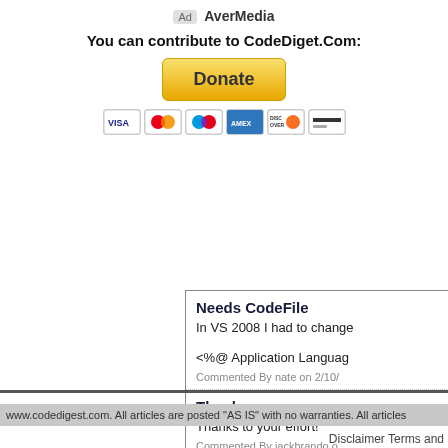Ad  AverMedia
You can contribute to CodeDiget.Com:
[Figure (other): PayPal Donate button with payment card icons (VISA, Mastercard, Maestro, Amex, Discover, and another card)]
Needs CodeFile
In VS 2008 I had to change

<%@ Application Languag
Commented By nate on 2/10/
Thank you...
Thanks to your effort!
Commented By jackbrando o
Need using System
In the file "Global.cs" that i
Kamoski
Commented By mkamoski o
www.codedigest.com. All articles are posted "AS IS" with no warranties. All articles
Disclaimer  Terms and